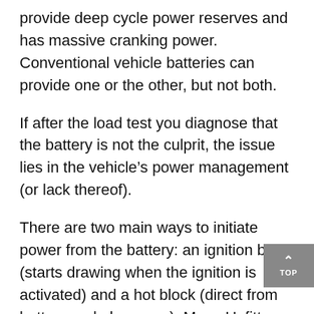provide deep cycle power reserves and has massive cranking power. Conventional vehicle batteries can provide one or the other, but not both.
If after the load test you diagnose that the battery is not the culprit, the issue lies in the vehicle's power management (or lack thereof).
There are two main ways to initiate power from the battery: an ignition block (starts drawing when the ignition is activated) and a hot block (direct from battery and always on). Many Upfitters connect directly into one or both of these systems to run the variety of systems that are required in today's first responder vehicles. While certain basic forms of common installation